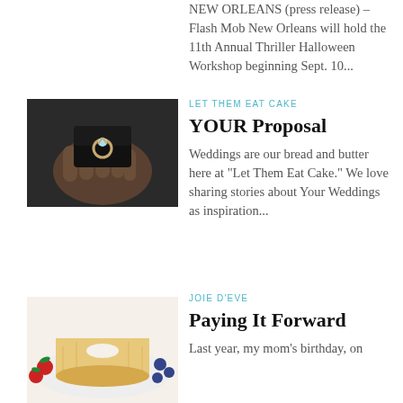NEW ORLEANS (press release) – Flash Mob New Orleans will hold the 11th Annual Thriller Halloween Workshop beginning Sept. 10...
[Figure (photo): Hands holding a small black ring box with an engagement ring inside]
LET THEM EAT CAKE
YOUR Proposal
Weddings are our bread and butter here at “Let Them Eat Cake.” We love sharing stories about Your Weddings as inspiration...
[Figure (photo): Angel food cake on a white plate with fresh berries]
JOIE D’EVE
Paying It Forward
Last year, my mom’s birthday, on